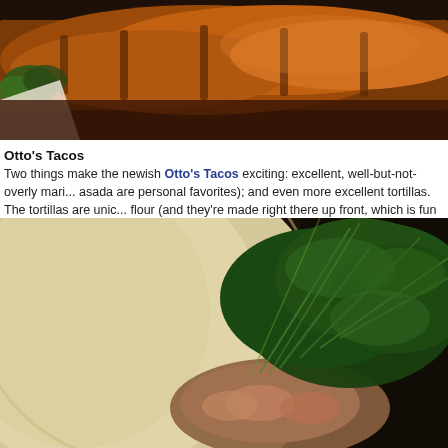[Figure (photo): Close-up photo of grilled/roasted meat with green herbs/lettuce on a light background, top portion cropped]
Otto's Tacos
Two things make the newish Otto's Tacos exciting: excellent, well-but-not-overly mari... asada are personal favorites); and even more excellent tortillas. The tortillas are unic... flour (and they're made right there up front, which is fun to watch), which makes them... usual corn jobbers. Filling, too! Also good: the masa fries, with spicy dipping sauce. L... 9th and 10th Streets. More info here.
[Figure (photo): Close-up photo of a taco with a light flour tortilla filled with shrimp and topped with fresh green cilantro/herbs, dark background]